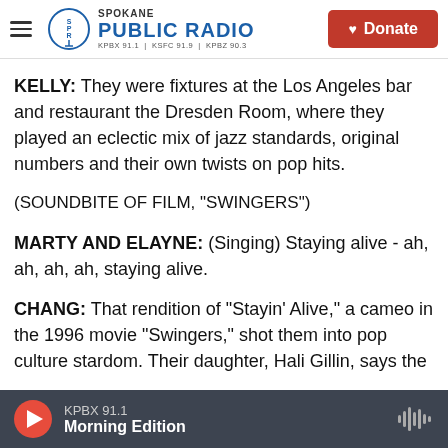Spokane Public Radio — KPBX 91.1 | KSFC 91.9 | KPBZ 90.3 — Donate
KELLY: They were fixtures at the Los Angeles bar and restaurant the Dresden Room, where they played an eclectic mix of jazz standards, original numbers and their own twists on pop hits.
(SOUNDBITE OF FILM, "SWINGERS")
MARTY AND ELAYNE: (Singing) Staying alive - ah, ah, ah, ah, staying alive.
CHANG: That rendition of "Stayin' Alive," a cameo in the 1996 movie "Swingers," shot them into pop culture stardom. Their daughter, Hali Gillin, says the
KPBX 91.1 — Morning Edition